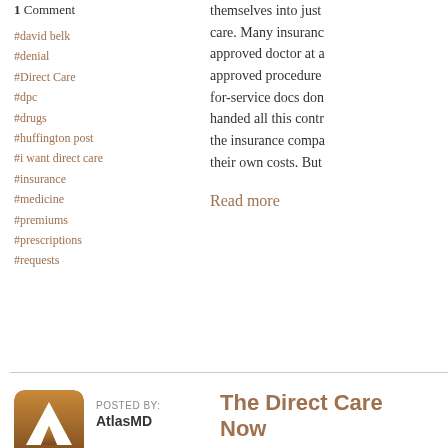1 Comment
#david belk
#denial
#Direct Care
#dpc
#drugs
#huffington post
#i want direct care
#insurance
#medicine
#premiums
#prescriptions
#requests
themselves into just care. Many insuranc approved doctor at a approved procedure for-service docs don handed all this contr the insurance compa their own costs. But
Read more
POSTED BY: AtlasMD
The Direct Care Now